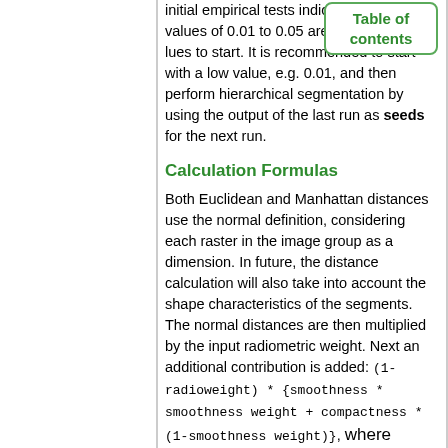initial empirical tests indicate threshold values of 0.01 to 0.05 are reasonable values to start. It is recommended to start with a low value, e.g. 0.01, and then perform hierarchical segmentation by using the output of the last run as seeds for the next run.
[Figure (other): Table of contents navigation button in top right corner]
Calculation Formulas
Both Euclidean and Manhattan distances use the normal definition, considering each raster in the image group as a dimension. In future, the distance calculation will also take into account the shape characteristics of the segments. The normal distances are then multiplied by the input radiometric weight. Next an additional contribution is added: (1-radioweight) * {smoothness * smoothness weight + compactness * (1-smoothness weight)}, where compactness = Perimeter Length / sqrt( Area ) and smoothness = Perimeter Length / Bounding Box. The perimeter length is estimated as the number of pixel sides the segment has.
Seeds